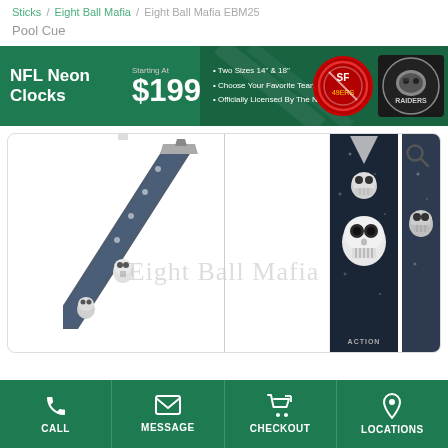Sticks / Eight Ball Mafia / Eight Ball Mafia EBM25 Pool Cue
[Figure (screenshot): NFL Neon Clocks advertisement banner. Starting At $199. Two Sizes 14" & 18". Choose Your Favorite Team. Officially Licensed By The NFL. Shows 49ers and Raiders team logos as neon clocks.]
[Figure (photo): Product photo of Eight Ball Mafia EBM25 pool cue showing the cue at a diagonal angle with skull graphics and blue/dark finish. Also shows close-up vertical view of the cue middle section with skull and dark blue background. Watermark text reads 'Eight Ball Mafia'. Magnify search icon in top right corner.]
CALL | MESSAGE | CHECKOUT | LOCATIONS